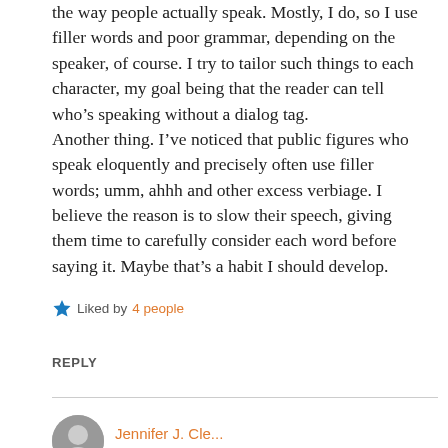the way people actually speak. Mostly, I do, so I use filler words and poor grammar, depending on the speaker, of course. I try to tailor such things to each character, my goal being that the reader can tell who's speaking without a dialog tag.
Another thing. I've noticed that public figures who speak eloquently and precisely often use filler words; umm, ahhh and other excess verbiage. I believe the reason is to slow their speech, giving them time to carefully consider each word before saying it. Maybe that's a habit I should develop.
Liked by 4 people
REPLY